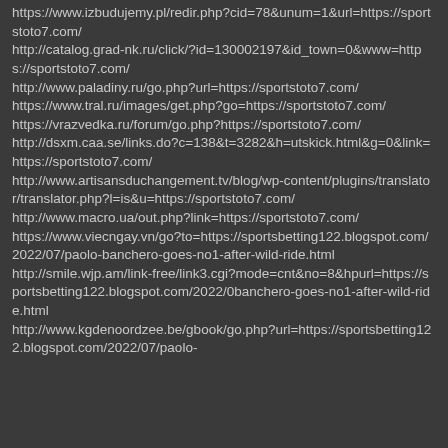https://www.izbudujemy.pl/redir.php?cid=78&unum=1&url=https://sportstoto7.com/
http://catalog.grad-nk.ru/click/?id=130002197&id_town=0&www=https://sportstoto7.com/
http://www.paladiny.ru/go.php?url=https://sportstoto7.com/
https://www.tral.ru/images/get.php?go=https://sportstoto7.com/
https://vrazvedka.ru/forum/go.php?https://sportstoto7.com/
http://dsxm.caa.se/links.do?c=138&t=3282&h=utskick.html&g=0&link=https://sportstoto7.com/
http://www.artisansduchangement.tv/blog/wp-content/plugins/translator/translator.php?l=is&u=https://sportstoto7.com/
http://www.macro.ua/out.php?link=https://sportstoto7.com/
https://www.viecngay.vn/go?to=https://sportsbetting122.blogspot.com/2022/07/paolo-banchero-goes-no1-after-wild-ride.html
http://smile.wjp.am/link-free/link3.cgi?mode=cnt&no=8&hpurl=https://sportsbetting122.blogspot.com/2022/07/paolo-banchero-goes-no1-after-wild-ride.html
http://www.kgdenoordzee.be/gbook/go.php?url=https://sportsbetting122.blogspot.com/2022/07/paolo-